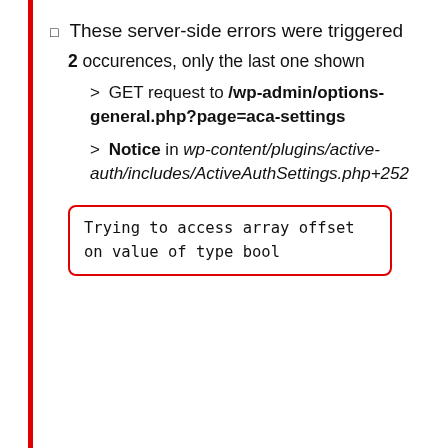☐  These server-side errors were triggered
2 occurences, only the last one shown
> GET request to /wp-admin/options-general.php?page=aca-settings
> Notice in wp-content/plugins/active-auth/includes/ActiveAuthSettings.php+252
Trying to access array offset on value of type bool